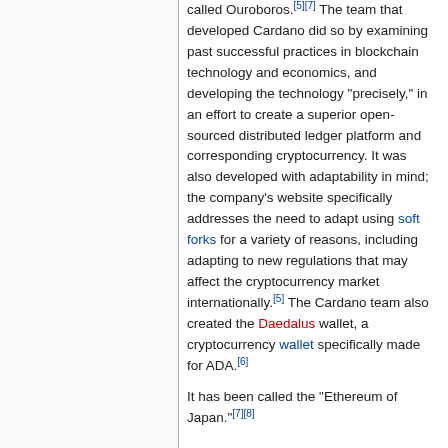called Ouroboros.[5][7] The team that developed Cardano did so by examining past successful practices in blockchain technology and economics, and developing the technology "precisely," in an effort to create a superior open-sourced distributed ledger platform and corresponding cryptocurrency. It was also developed with adaptability in mind; the company's website specifically addresses the need to adapt using soft forks for a variety of reasons, including adapting to new regulations that may affect the cryptocurrency market internationally.[5] The Cardano team also created the Daedalus wallet, a cryptocurrency wallet specifically made for ADA.[6]
It has been called the "Ethereum of Japan."[7][8]